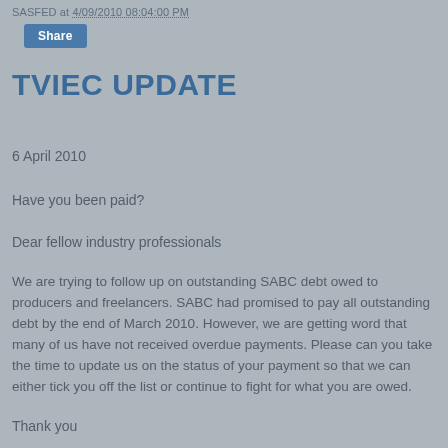SASFED at 4/09/2010 08:04:00 PM
Share
TVIEC UPDATE
6 April 2010
Have you been paid?
Dear fellow industry professionals
We are trying to follow up on outstanding SABC debt owed to producers and freelancers. SABC had promised to pay all outstanding debt by the end of March 2010. However, we are getting word that many of us have not received overdue payments. Please can you take the time to update us on the status of your payment so that we can either tick you off the list or continue to fight for what you are owed.
Thank you